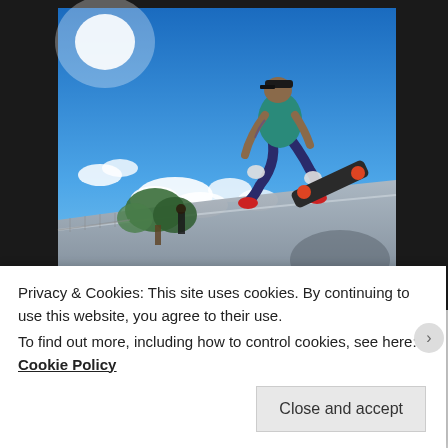[Figure (photo): A skateboarder performing an aerial trick above the rim of a concrete skate ramp, against a bright blue sky with white clouds. The skater is wearing a teal shirt, checkered pants, and a black cap, holding a skateboard mid-air. Another person is visible in the background near some trees.]
Privacy & Cookies: This site uses cookies. By continuing to use this website, you agree to their use.
To find out more, including how to control cookies, see here: Cookie Policy
Close and accept